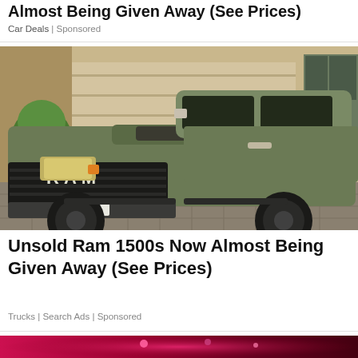Almost Being Given Away (See Prices)
Car Deals | Sponsored
[Figure (photo): Matte olive green RAM 1500 TRX pickup truck parked in a driveway with a topiary tree visible in the background]
Unsold Ram 1500s Now Almost Being Given Away (See Prices)
Trucks | Search Ads | Sponsored
[Figure (photo): Bottom strip of another advertisement image showing red and purple tones]